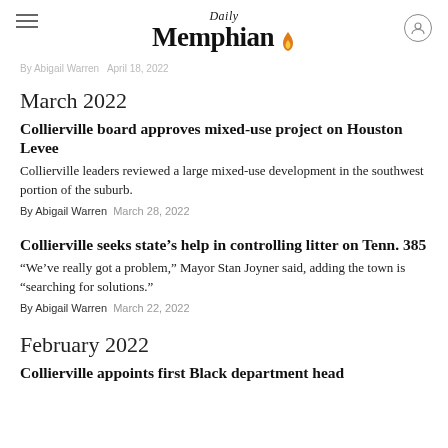Daily Memphian
By Abigail Warren  April 18, 2022
March 2022
Collierville board approves mixed-use project on Houston Levee
Collierville leaders reviewed a large mixed-use development in the southwest portion of the suburb.
By Abigail Warren  March 28, 2022
Collierville seeks state's help in controlling litter on Tenn. 385
“We’ve really got a problem,” Mayor Stan Joyner said, adding the town is “searching for solutions.”
By Abigail Warren  March 22, 2022
February 2022
Collierville appoints first Black department head